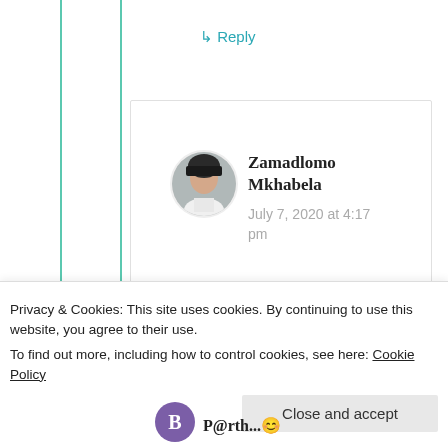↳ Reply
Zamadlomo Mkhabela
July 7, 2020 at 4:17 pm
Thanks for for sharing 🙂
Privacy & Cookies: This site uses cookies. By continuing to use this website, you agree to their use. To find out more, including how to control cookies, see here: Cookie Policy
Close and accept
P@rth...😊